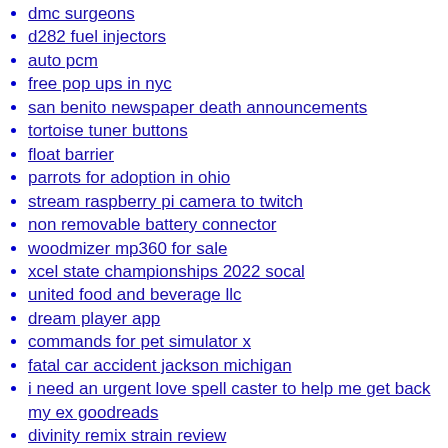dmc surgeons
d282 fuel injectors
auto pcm
free pop ups in nyc
san benito newspaper death announcements
tortoise tuner buttons
float barrier
parrots for adoption in ohio
stream raspberry pi camera to twitch
non removable battery connector
woodmizer mp360 for sale
xcel state championships 2022 socal
united food and beverage llc
dream player app
commands for pet simulator x
fatal car accident jackson michigan
i need an urgent love spell caster to help me get back my ex goodreads
divinity remix strain review
bluefin tuna fishing charters north carolina
p320 x5 legion accessories
top music videos today
we g36 magazine
tm menards app
dr650 backfire